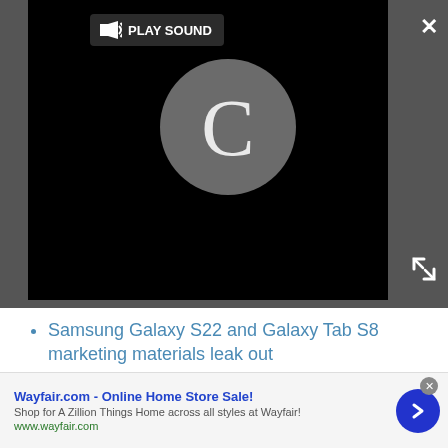[Figure (screenshot): Dark video player with black screen showing a loading spinner (letter C in a circle), a 'PLAY SOUND' button with speaker icon in top-left, a white X close button top-right, and a white expand/fullscreen icon bottom-right.]
Samsung Galaxy S22 and Galaxy Tab S8 marketing materials leak out
[Figure (photo): Circular headshot photo of Tom Bedford, a man with short brown hair wearing a dark jacket, outdoors with green background.]
Tom Bedford
Deputy Editor - Phones
[Figure (infographic): Small circular dark email/envelope icon button]
Wayfair.com - Online Home Store Sale! Shop for A Zillion Things Home across all styles at Wayfair! www.wayfair.com